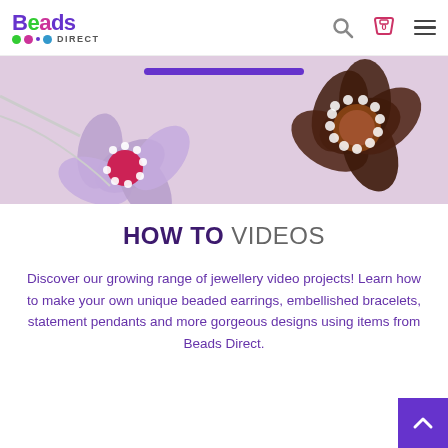Beads Direct
[Figure (photo): Banner image showing beaded flower jewelry pieces on a pink background with a purple bar overlay]
HOW TO VIDEOS
Discover our growing range of jewellery video projects! Learn how to make your own unique beaded earrings, embellished bracelets, statement pendants and more gorgeous designs using items from Beads Direct.